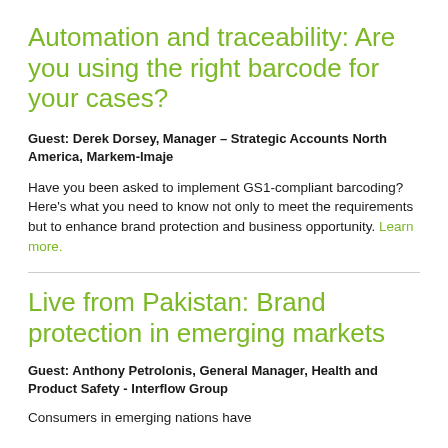Automation and traceability: Are you using the right barcode for your cases?
Guest: Derek Dorsey, Manager – Strategic Accounts North America, Markem-Imaje
Have you been asked to implement GS1-compliant barcoding? Here's what you need to know not only to meet the requirements but to enhance brand protection and business opportunity. Learn more.
Live from Pakistan: Brand protection in emerging markets
Guest: Anthony Petrolonis, General Manager, Health and Product Safety - Interflow Group
Consumers in emerging nations have